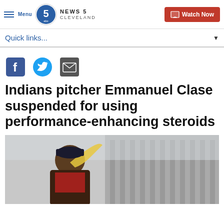NEWS 5 CLEVELAND | Watch Now
Quick links...
[Figure (other): Social sharing icons: Facebook, Twitter, Email]
Indians pitcher Emmanuel Clase suspended for using performance-enhancing steroids
[Figure (photo): Baseball player stretching with a resistance band outdoors at a stadium]